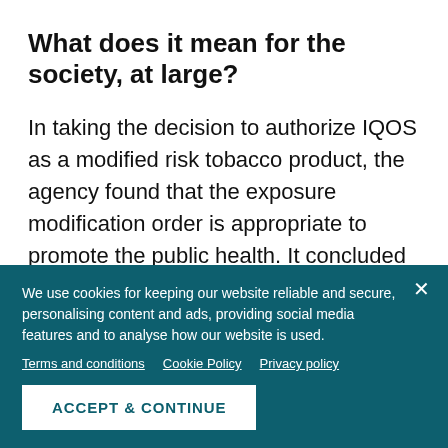What does it mean for the society, at large?
In taking the decision to authorize IQOS as a modified risk tobacco product, the agency found that the exposure modification order is appropriate to promote the public health. It concluded that the available scientific evidence demonstrates that IQOS is expected to benefit the health of the population as a
We use cookies for keeping our website reliable and secure, personalising content and ads, providing social media features and to analyse how our website is used.
Terms and conditions   Cookie Policy   Privacy policy
ACCEPT & CONTINUE